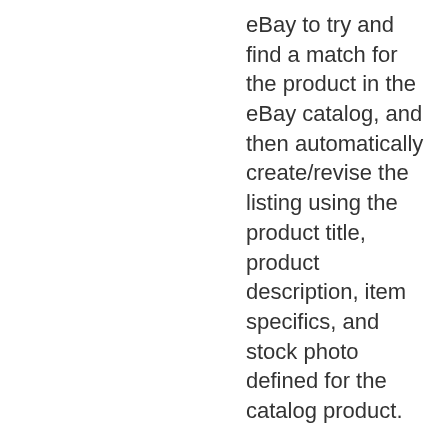eBay to try and find a match for the product in the eBay catalog, and then automatically create/revise the listing using the product title, product description, item specifics, and stock photo defined for the catalog product.
If the seller wants to use an eBay